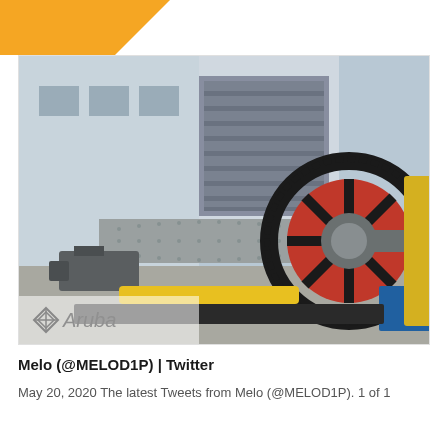[Figure (photo): Industrial ball mill machine with a large red gear wheel, grey cylindrical drum, and other heavy mining equipment in an outdoor industrial yard. An Aruba logo watermark appears at the bottom-left of the image.]
Melo (@MELOD1P) | Twitter
May 20, 2020 The latest Tweets from Melo (@MELOD1P). 1 of 1